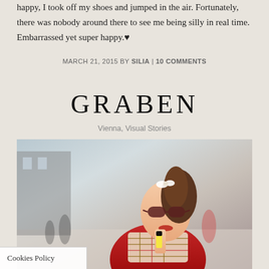happy, I took off my shoes and jumped in the air. Fortunately, there was nobody around there to see me being silly in real time. Embarrassed yet super happy.♥
MARCH 21, 2015 BY SILIA | 10 COMMENTS
GRABEN
Vienna, Visual Stories
[Figure (photo): Woman wearing sunglasses, red coat, and plaid scarf, eating something on a busy street in Vienna. She has a white bow in her ponytail and red lipstick.]
Cookies Policy